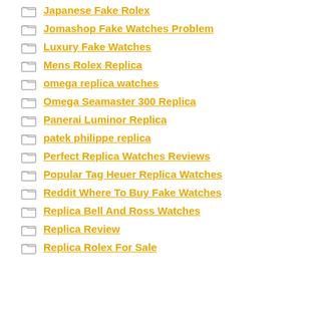Japanese Fake Rolex
Jomashop Fake Watches Problem
Luxury Fake Watches
Mens Rolex Replica
omega replica watches
Omega Seamaster 300 Replica
Panerai Luminor Replica
patek philippe replica
Perfect Replica Watches Reviews
Popular Tag Heuer Replica Watches
Reddit Where To Buy Fake Watches
Replica Bell And Ross Watches
Replica Review
Replica Rolex For Sale